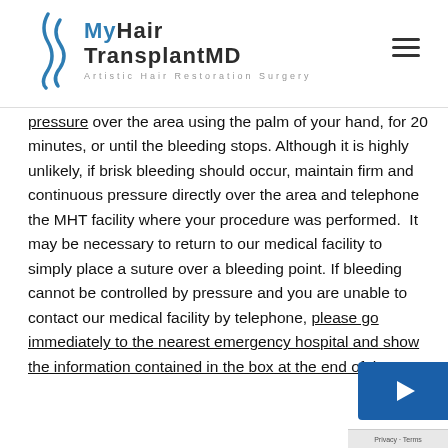MyHair TransplantMD — Artistic Hair Restoration Surgery
pressure over the area using the palm of your hand, for 20 minutes, or until the bleeding stops. Although it is highly unlikely, if brisk bleeding should occur, maintain firm and continuous pressure directly over the area and telephone the MHT facility where your procedure was performed.  It may be necessary to return to our medical facility to simply place a suture over a bleeding point. If bleeding cannot be controlled by pressure and you are unable to contact our medical facility by telephone, please go immediately to the nearest emergency hospital and show the information contained in the box at the end of these